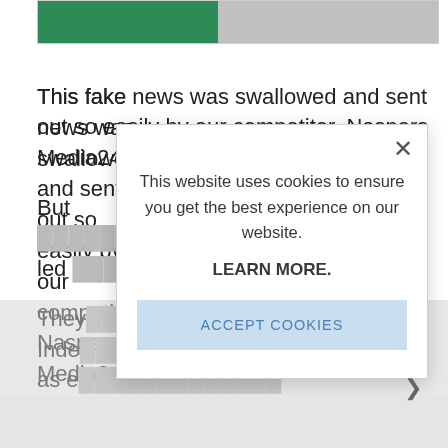[Figure (screenshot): Top portion of a website with a green and gray progress/image bar at the top]
This fake news was swallowed and sent out so easily by our competitor, Naspers Media24 and their surr[ounding Bio N...]
But [text partially obscured by modal] led [obscured]
They [obscured] Inde[pendent obscured] as e[xpected obscured] Inde[pendent obscured]
[Figure (screenshot): Cookie consent modal dialog overlay on a webpage. Contains text: 'This website uses cookies to ensure you get the best experience on our website.' followed by bold 'LEARN MORE.' and a light blue button reading 'ACCEPT COOKIES'. An X close button is in the top right corner.]